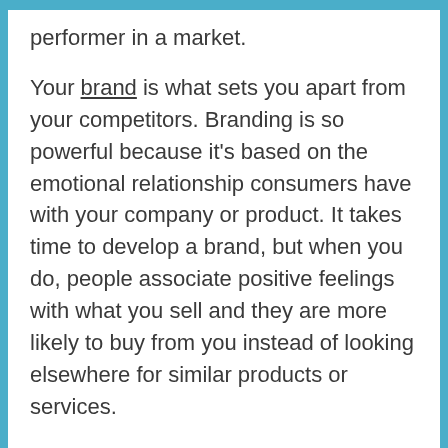performer in a market.
Your brand is what sets you apart from your competitors. Branding is so powerful because it's based on the emotional relationship consumers have with your company or product. It takes time to develop a brand, but when you do, people associate positive feelings with what you sell and they are more likely to buy from you instead of looking elsewhere for similar products or services.